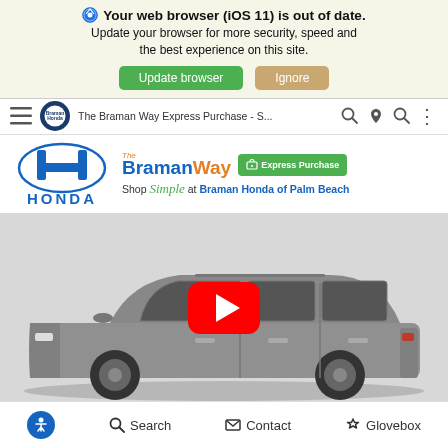Your web browser (iOS 11) is out of date. Update your browser for more security, speed and the best experience on this site.
Update browser | Ignore
[Figure (screenshot): Navigation bar with Braman Honda of Palm Beach logo circle and video title 'The Braman Way Express Purchase - S...' with three-dot menu]
[Figure (logo): Honda logo (H emblem) with HONDA text below in blue, and The Braman Way logo with Express Purchase green button, Shop Simple at Braman Honda of Palm Beach tagline]
[Figure (photo): YouTube video thumbnail showing a silver Honda SUV (Pilot) side profile with a YouTube play button overlay]
Search  Contact  Glovebox